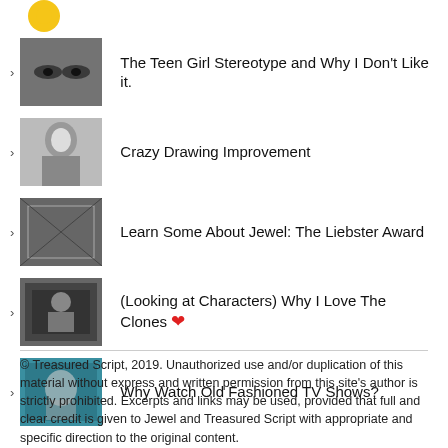[Figure (logo): Yellow circle logo at top left]
The Teen Girl Stereotype and Why I Don't Like it.
Crazy Drawing Improvement
Learn Some About Jewel: The Liebster Award
(Looking at Characters) Why I Love The Clones ❤
Why Watch Old Fashioned TV Shows?
© Treasured Script, 2019. Unauthorized use and/or duplication of this material without express and written permission from this site's author is strictly prohibited. Excerpts and links may be used, provided that full and clear credit is given to Jewel and Treasured Script with appropriate and specific direction to the original content.